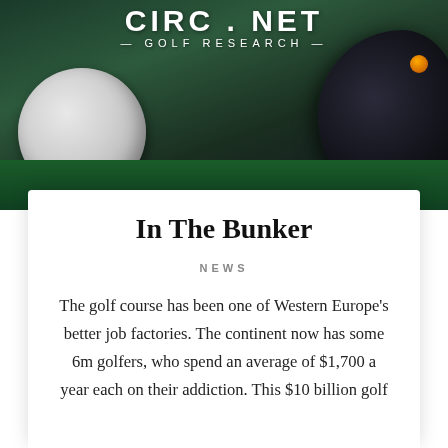[Figure (photo): Hero image showing a golf ball and dark golf club head on green turf with dark background]
CIRC . NET — GOLF RESEARCH —
Golf
In The Bunker
NEWS
The golf course has been one of Western Europe's better job factories. The continent now has some 6m golfers, who spend an average of $1,700 a year each on their addiction. This $10 billion golf